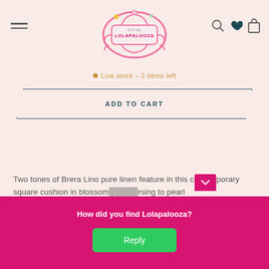[Figure (logo): Lolapalooza brand logo — ornate pink decorative frame with scrollwork and the text LOLAPALOOZA]
Low stock – 2 items left
ADD TO CART
Two tones of Brera Lino pure linen feature in this contemporary square cushion in blossom/nursing to pearl wi…onal overlock…he perfect …s a stylish a…
How did you find Lolapalooza?
Reply